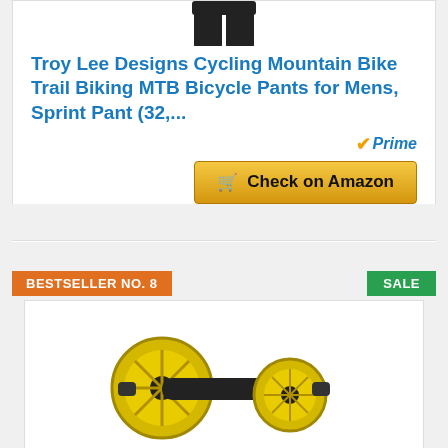[Figure (photo): Product image of cycling pants (partially visible at top)]
Troy Lee Designs Cycling Mountain Bike Trail Biking MTB Bicycle Pants for Mens, Sprint Pant (32,...
[Figure (logo): Amazon Prime badge with checkmark and 'Prime' text in blue italic]
Check on Amazon
BESTSELLER NO. 8
SALE
[Figure (photo): Yellow and black ab roller wheel fitness exercise equipment]